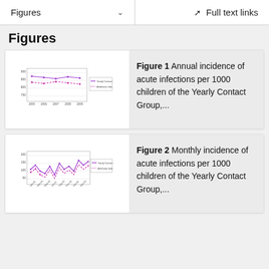Figures   Full text links
Figures
[Figure (line-chart): Small thumbnail line chart showing annual incidence of acute infections per 1000 children of the Yearly Contact Group, with two colored lines and a legend.]
Figure 1 Annual incidence of acute infections per 1000 children of the Yearly Contact Group,...
[Figure (line-chart): Small thumbnail line chart showing monthly incidence of acute infections per 1000 children of the Yearly Contact Group, with two colored lines, a legend, and diagonal x-axis labels.]
Figure 2 Monthly incidence of acute infections per 1000 children of the Yearly Contact Group,...